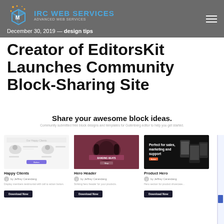IRC WEB SERVICES | December 30, 2019 — design tips
Creator of EditorsKit Launches Community Block-Sharing Site
Share your awesome block ideas.
Community submitted free block designs and templates for Gutenberg editor to help you get started.
[Figure (screenshot): Happy Clients block template preview thumbnail]
Happy Clients
by Jeffrey Carandang
Display members testimonial with call to action button.
[Figure (screenshot): Hero Header block template preview thumbnail]
Hero Header
by Jeffrey Carandang
Striking hero header for your products.
[Figure (screenshot): Product Hero block template preview thumbnail]
Product Hero
by Jeffrey Carandang
Hero section for product showcase...